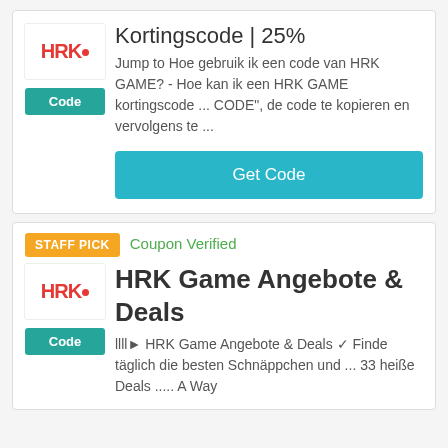Kortingscode | 25%
Jump to Hoe gebruik ik een code van HRK GAME? - Hoe kan ik een HRK GAME kortingscode ... CODE", de code te kopieren en vervolgens te ...
Get Code
STAFF PICK
Coupon Verified
HRK Game Angebote & Deals
llll► HRK Game Angebote & Deals ✅ Finde täglich die besten Schnäppchen und ... 33 heiße Deals ..... A Way